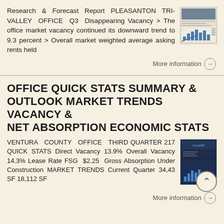Research & Forecast Report PLEASANTON TRI-VALLEY OFFICE Q3 Disappearing Vacancy > The office market vacancy continued its downward trend to 9.3 percent > Overall market weighted average asking rents held
[Figure (screenshot): Thumbnail image of a research report with charts and tables]
More information →
OFFICE QUICK STATS SUMMARY & OUTLOOK MARKET TRENDS VACANCY & NET ABSORPTION ECONOMIC STATS
VENTURA COUNTY OFFICE THIRD QUARTER 217 QUICK STATS Direct Vacancy 13.9% Overall Vacancy 14.3% Lease Rate FSG $2.25 Gross Absorption Under Construction MARKET TRENDS Current Quarter 34,43 SF 18,112 SF
[Figure (screenshot): Thumbnail image of Ventura County Office report with dark blue cover and charts]
More information →